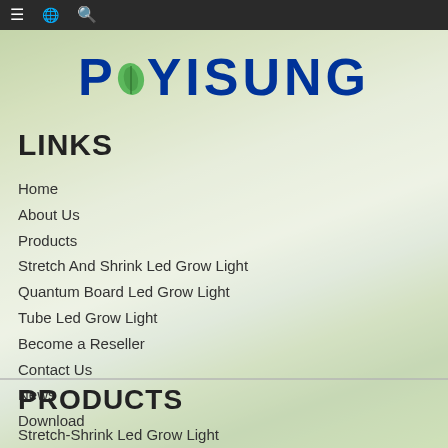[Figure (screenshot): Dark navigation bar with hamburger menu icon, language icon, and search icon]
[Figure (logo): Phyisung company logo with blue bold text and green leaf graphic on plant background]
LINKS
Home
About Us
Products
Stretch And Shrink Led Grow Light
Quantum Board Led Grow Light
Tube Led Grow Light
Become a Reseller
Contact Us
News
Download
PRODUCTS
Stretch-Shrink Led Grow Light